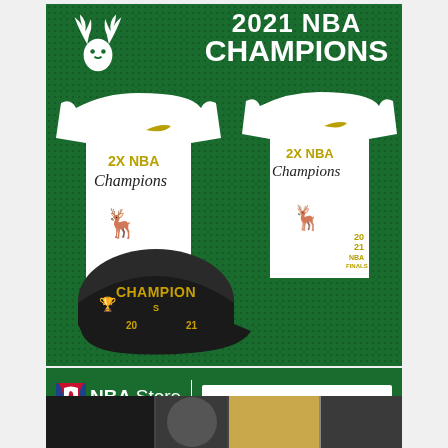[Figure (photo): Milwaukee Bucks 2021 NBA Champions advertisement banner. Dark green background with white Bucks antler logo top left, bold white text '2021 NBA CHAMPIONS' top right. Center shows two white Nike t-shirts with '2X NBA Champions' gold script lettering and a dark snapback cap with 'CHAMPIONS' in gold lettering. Bottom section shows NBA Store logo and 'SHOP NOW >>' button in white box.]
NBA Store
A Fanatics Experience
SHOP NOW »
[Figure (photo): Bottom strip showing basketball player photos, partially visible at bottom of page.]